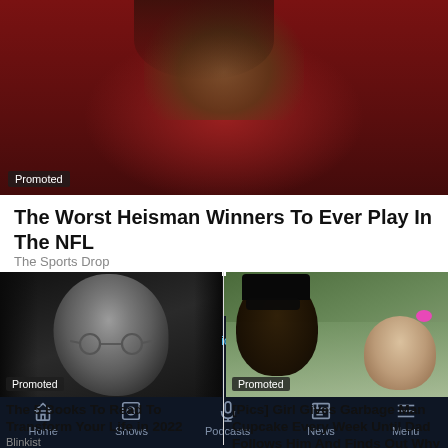[Figure (photo): Football player in red jersey, close-up of face and shoulders, partially cropped. 'Promoted' badge in bottom-left corner.]
The Worst Heisman Winners To Ever Play In The NFL
The Sports Drop
[Figure (photo): Black and white close-up portrait of person with round glasses and long dark hair. 'Promoted' badge in bottom-left corner.]
[Figure (photo): Color photo of man with sunglasses and beard smiling with a young blonde child. 'Promoted' badge in bottom-left corner.]
The 5 Books To Read To Transform Your Life in 2022
Blinkist
[Pics] Girl Gives Garbage Man Cupcake Every Week Until Dad Follows Him And Finds Out Why
LIVE  Listen on iHeart Radio
In My Day
Home  Shows  Podcasts  News  Menu